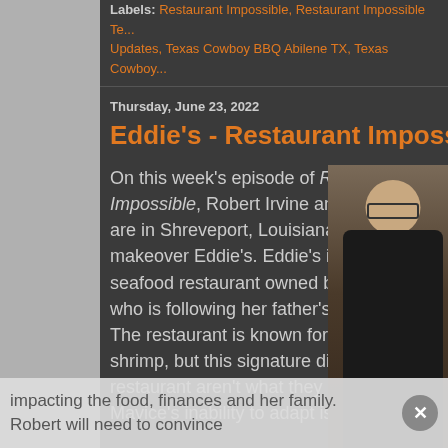Labels: Restaurant Impossible, Restaurant Impossible Te... Updates, Texas Cowboy BBQ Abilene TX, Texas Cowboy...
Thursday, June 23, 2022
Eddie's - Restaurant Impossible Up...
On this week's episode of Restaurant: Impossible, Robert Irvine and his crew are in Shreveport, Louisiana to makeover Eddie's. Eddie's is a seafood restaurant owned by Mavice, who is following her father's legacy. The restaurant is known for its stuffed shrimp, but this signature dish and the restaurant aren't what they used to be. Mavice's inability to adapt is impacting the food, finances and her family. Robert will need to convince
[Figure (photo): Photo of a man sitting, wearing glasses and a dark zip-up jacket, looking down at something off-screen. Wooden background visible.]
impacting the food, finances and her family. Robert will need to convince